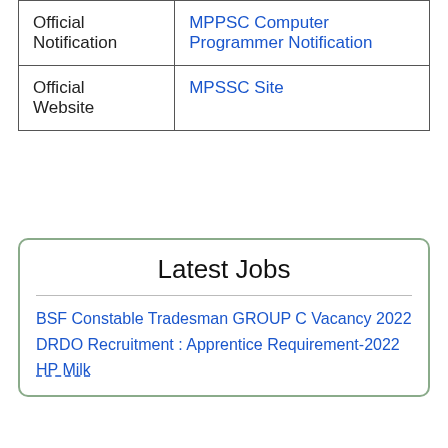| Official Notification | MPPSC Computer Programmer Notification |
| Official Website | MPSSC Site |
Latest Jobs
BSF Constable Tradesman GROUP C Vacancy 2022
DRDO Recruitment : Apprentice Requirement-2022